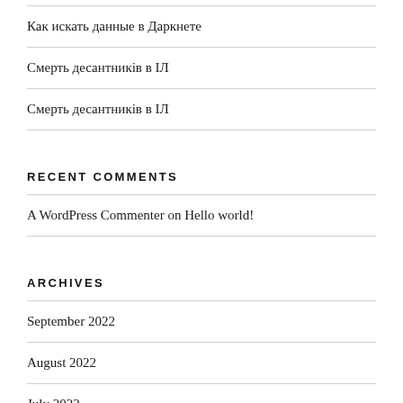Как искать данные в Даркнете
Смерть десантників в ІЛ
Смерть десантників в ІЛ
RECENT COMMENTS
A WordPress Commenter on Hello world!
ARCHIVES
September 2022
August 2022
July 2022